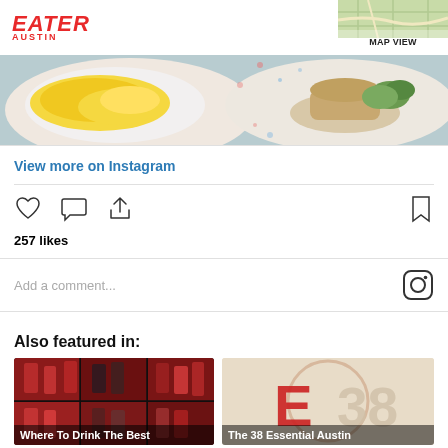EATER AUSTIN
[Figure (photo): Food photo showing two plates: left plate with scrambled eggs, right plate with a sandwich/burger dish on a decorative tablecloth]
View more on Instagram
[Figure (infographic): Instagram action icons: heart (like), comment bubble, share arrow, bookmark. Below: 257 likes. Comment field: Add a comment... with Instagram logo icon.]
257 likes
Add a comment...
Also featured in:
[Figure (photo): Grid of Bloody Mary drink photos - multiple tall red cocktail glasses]
Where To Drink The Best
[Figure (logo): Eater 38 logo - large red E and 38 on beige/cream background]
The 38 Essential Austin